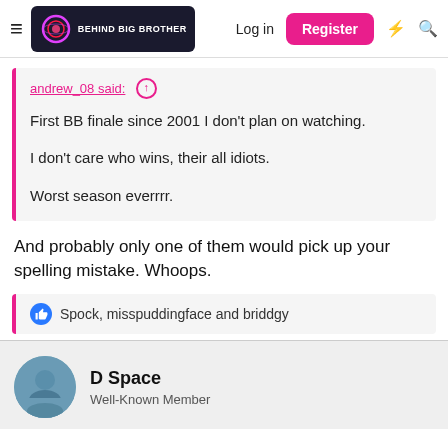Behind Big Brother — Log in | Register
andrew_08 said: ↑

First BB finale since 2001 I don't plan on watching.

I don't care who wins, their all idiots.

Worst season everrrr.
And probably only one of them would pick up your spelling mistake. Whoops.
👍 Spock, misspuddingface and briddgy
D Space
Well-Known Member